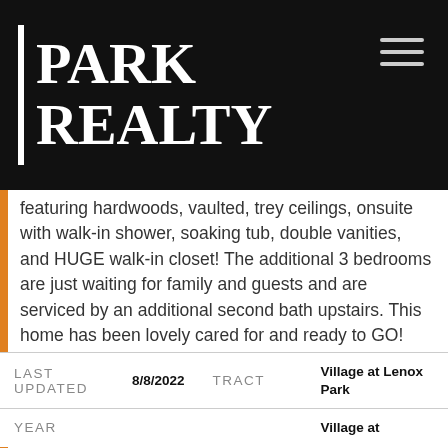PARK REALTY
featuring hardwoods, vaulted, trey ceilings, onsuite with walk-in shower, soaking tub, double vanities, and HUGE walk-in closet! The additional 3 bedrooms are just waiting for family and guests and are serviced by an additional second bath upstairs. This home has been lovely cared for and ready to GO! 1/2 mile from Lenox, walking distance to everything, across the street from and incredible dog park.
| LAST UPDATED |  | TRACT |  |
| --- | --- | --- | --- |
| LAST UPDATED | 8/8/2022 | TRACT | Village at Lenox Park |
| YEAR |  |  | Village at |
YEAR
Village at